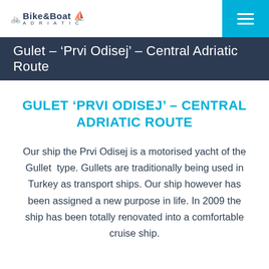Bike & Boat Adriatic
Gulet – ‘Prvi Odisej’ – Central Adriatic Route
GULET ‘PRVI ODISEJ’ – CENTRAL ADRIATIC ROUTE
Our ship the Prvi Odisej is a motorised yacht of the Gullet type. Gullets are traditionally being used in Turkey as transport ships. Our ship however has been assigned a new purpose in life. In 2009 the ship has been totally renovated into a comfortable cruise ship.